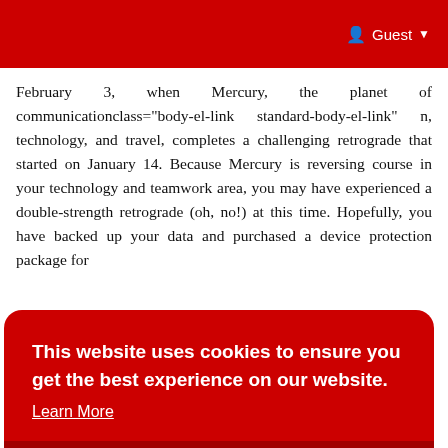Guest
February 3, when Mercury, the planet of communicationclass="body-el-link standard-body-el-link" n, technology, and travel, completes a challenging retrograde that started on January 14. Because Mercury is reversing course in your technology and teamwork area, you may have experienced a double-strength retrograde (oh, no!) at this time. Hopefully, you have backed up your data and purchased a device protection package for
vest
ard
eam
8th
ink"
[Figure (screenshot): Cookie consent banner: 'This website uses cookies to ensure you get the best experience on our website. Learn More' with a 'Got It!' button, styled in red.]
In your communication and media sector on